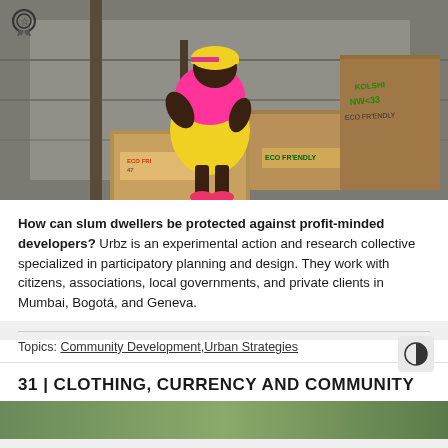[Figure (photo): A child in bright pink and yellow clothing crouches on wooden crates/steps outdoors. Crates are labeled 'ECO FRIENDLY'. Stone walls in background.]
How can slum dwellers be protected against profit-minded developers? Urbz is an experimental action and research collective specialized in participatory planning and design. They work with citizens, associations, local governments, and private clients in Mumbai, Bogotá, and Geneva.
Topics: Community Development, Urban Strategies
31 | CLOTHING, CURRENCY AND COMMUNITY
[Figure (photo): Partial bottom photo, green/outdoor scene, cropped.]